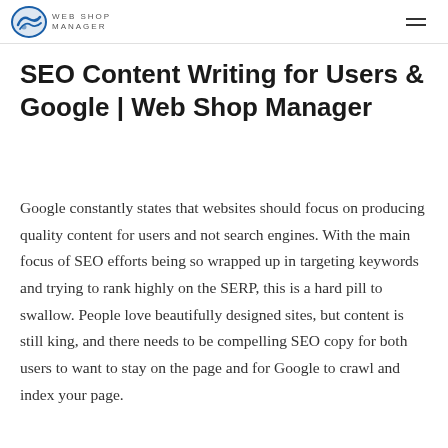Web Shop Manager
SEO Content Writing for Users & Google | Web Shop Manager
Google constantly states that websites should focus on producing quality content for users and not search engines. With the main focus of SEO efforts being so wrapped up in targeting keywords and trying to rank highly on the SERP, this is a hard pill to swallow. People love beautifully designed sites, but content is still king, and there needs to be compelling SEO copy for both users to want to stay on the page and for Google to crawl and index your page.